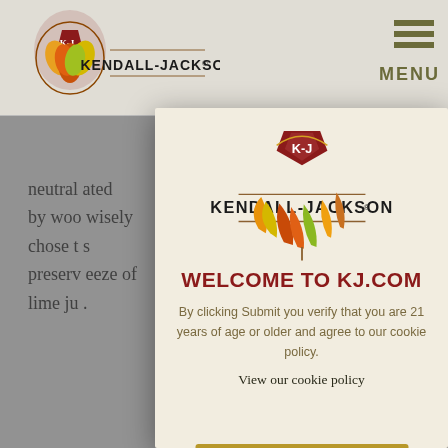Kendall-Jackson (logo) | MENU
neutral ... ated by woo... wisely chose t... s preserv... eeze of lime ju...
[Figure (logo): Kendall-Jackson Vineyard Estates logo with colorful autumn leaves emblem and brand name]
WELCOME TO KJ.COM
By clicking Submit you verify that you are 21 years of age or older and agree to our cookie policy.
View our cookie policy
SUBMIT
What's... Chardo... sophist... showca... r can be, in t...